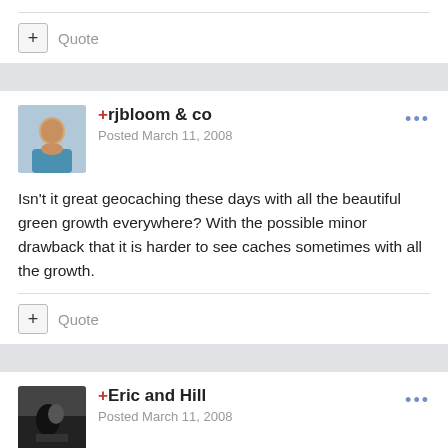+ Quote
+rjbloom & co
Posted March 11, 2008
Isn't it great geocaching these days with all the beautiful green growth everywhere? With the possible minor drawback that it is harder to see caches sometimes with all the growth.
+ Quote
+Eric and Hill
Posted March 11, 2008